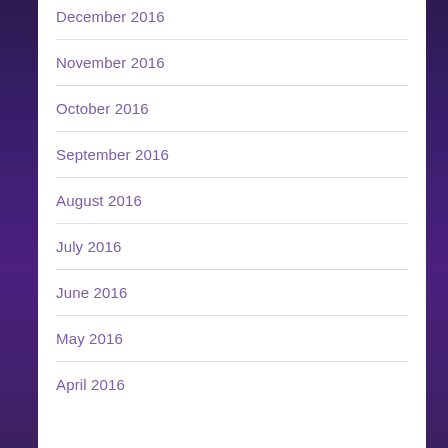December 2016
November 2016
October 2016
September 2016
August 2016
July 2016
June 2016
May 2016
April 2016